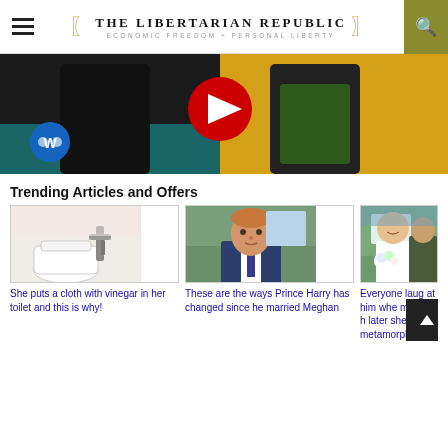THE LIBERTARIAN REPUBLIC — ECONOMIC FREEDOM + PERSONAL LIBERTY
[Figure (screenshot): YouTube video thumbnail showing performers on stage with a red play button, Warner Music logo in bottom left, colorful background]
Trending Articles and Offers
[Figure (photo): Bathroom toilet with faucet fixture in a pink/white bathroom]
She puts a cloth with vinegar in her toilet and this is why!
[Figure (photo): Prince Harry in a suit looking serious during an interview]
These are the ways Prince Harry has changed since he married Meghan
[Figure (photo): Overweight bride in wedding dress holding flowers outdoors]
Everyone laughed at him when he married her, later she showed a metamorphos